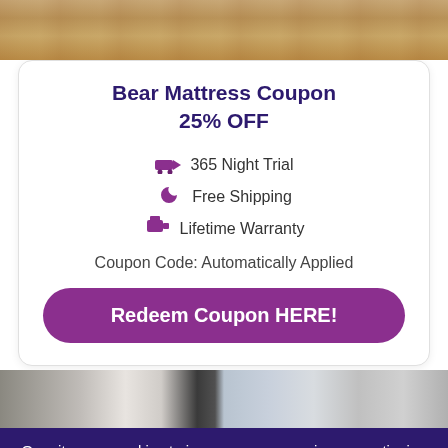[Figure (photo): Wooden floor/deck background image at top of page]
Bear Mattress Coupon
25% OFF
365 Night Trial
Free Shipping
Lifetime Warranty
Coupon Code: Automatically Applied
Redeem Coupon HERE!
[Figure (photo): Interior room/hallway background photo]
Our site uses cookies to improve your experience, continuing on our site means you agree with our cookie policy Read More
I Agree